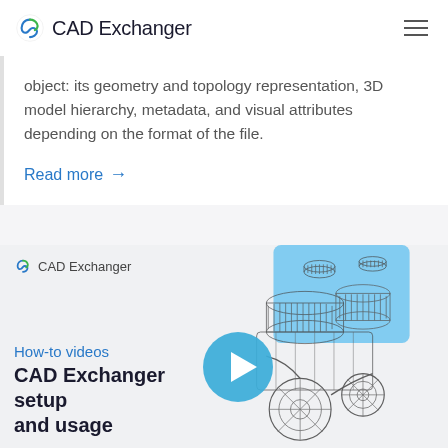CAD Exchanger
object: its geometry and topology representation, 3D model hierarchy, metadata, and visual attributes depending on the format of the file.
Read more →
[Figure (screenshot): CAD Exchanger promotional video card showing a 3D wireframe mechanical engine model with a play button overlay, CAD Exchanger logo, 'How-to videos' tag, and title 'CAD Exchanger setup and usage']
How-to videos
CAD Exchanger setup and usage